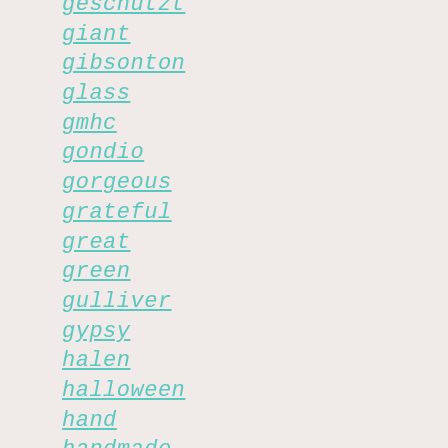geschützt
giant
gibsonton
glass
gmhc
gondio
gorgeous
grateful
great
green
gulliver
gypsy
halen
halloween
hand
handmade
hawaiian
heavy
helland